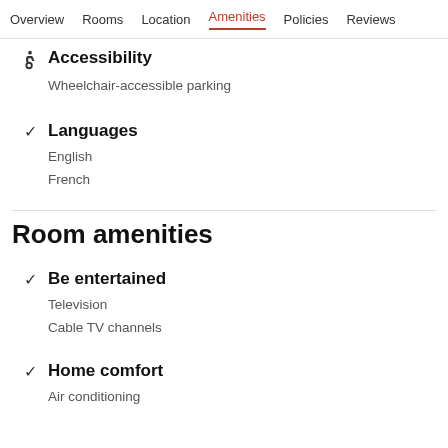Overview   Rooms   Location   Amenities   Policies   Reviews
Accessibility
Wheelchair-accessible parking
Languages
English
French
Room amenities
Be entertained
Television
Cable TV channels
Home comfort
Air conditioning